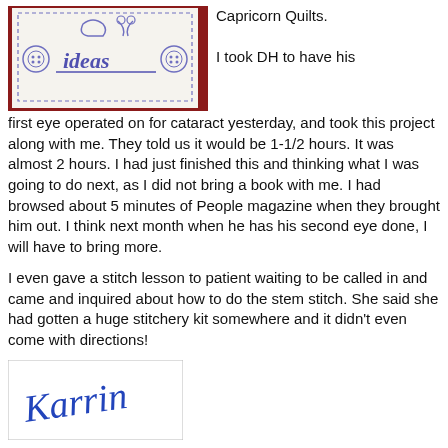[Figure (photo): A hand-stitched embroidery piece on white fabric showing the word 'ideas' with a safety pin, scissors, and button motifs, with a dashed border, surrounded by a dark red/maroon knitted background.]
Capricorn Quilts.

I took DH to have his first eye operated on for cataract yesterday, and took this project along with me. They told us it would be 1-1/2 hours. It was almost 2 hours. I had just finished this and thinking what I was going to do next, as I did not bring a book with me. I had browsed about 5 minutes of People magazine when they brought him out. I think next month when he has his second eye done, I will have to bring more.
I even gave a stitch lesson to patient waiting to be called in and came and inquired about how to do the stem stitch. She said she had gotten a huge stitchery kit somewhere and it didn't even come with directions!
[Figure (photo): Handwritten cursive signature reading 'Karrin' in blue ink inside a rectangular box with a thin border.]